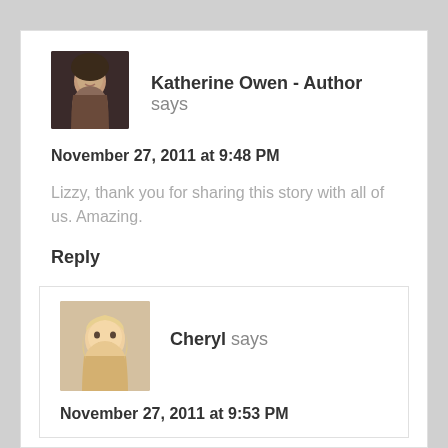[Figure (photo): Profile photo of Katherine Owen, a woman with dark hair]
Katherine Owen - Author says
November 27, 2011 at 9:48 PM
Lizzy, thank you for sharing this story with all of us. Amazing.
Reply
[Figure (photo): Profile photo of Cheryl, a woman with blonde hair]
Cheryl says
November 27, 2011 at 9:53 PM